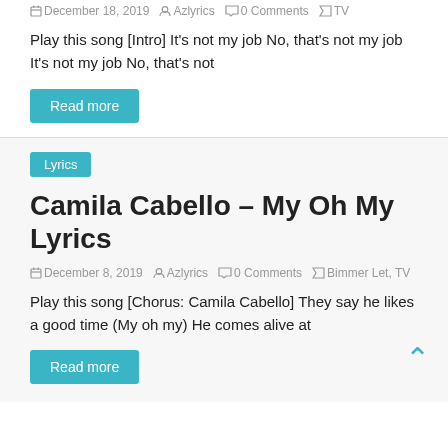December 18, 2019   Azlyrics   0 Comments   TV
Play this song [Intro] It's not my job No, that's not my job It's not my job No, that's not
Read more
Lyrics
Camila Cabello – My Oh My Lyrics
December 8, 2019   Azlyrics   0 Comments   Bimmer Let, TV
Play this song [Chorus: Camila Cabello] They say he likes a good time (My oh my) He comes alive at
Read more